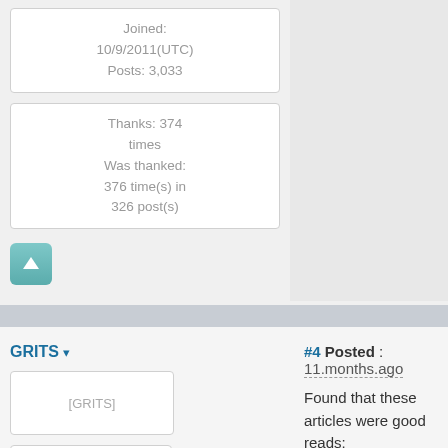Joined: 10/9/2011(UTC)
Posts: 3,033
Thanks: 374 times
Was thanked: 376 time(s) in 326 post(s)
[Figure (other): Up arrow button (teal square button with white upward arrow icon)]
#4 Posted : 11.months.ago
[Figure (other): GRITS user avatar placeholder image]
Rank: Groupie
Found that these articles were good reads:
https://www.govexec.com/...nvaccinated-